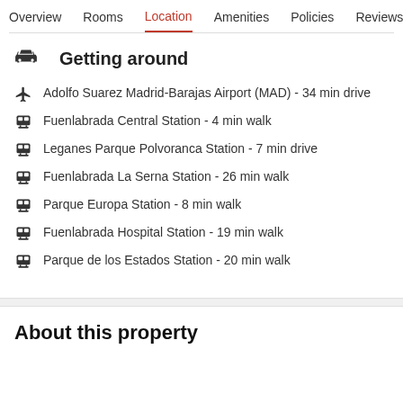Overview  Rooms  Location  Amenities  Policies  Reviews
Getting around
Adolfo Suarez Madrid-Barajas Airport (MAD) - 34 min drive
Fuenlabrada Central Station - 4 min walk
Leganes Parque Polvoranca Station - 7 min drive
Fuenlabrada La Serna Station - 26 min walk
Parque Europa Station - 8 min walk
Fuenlabrada Hospital Station - 19 min walk
Parque de los Estados Station - 20 min walk
About this property